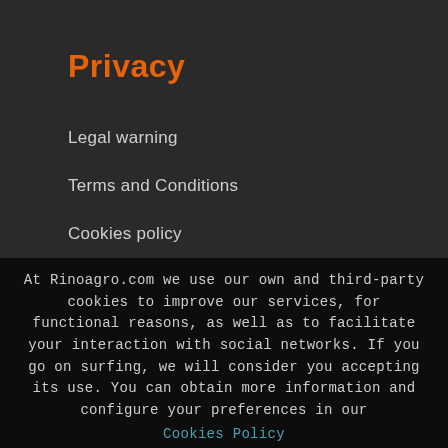Privacy
Legal warning
Terms and Conditions
Cookies policy
At Rinoagro.com we use our own and third-party cookies to improve our services, for functional reasons, as well as to facilitate your interaction with social networks. If you go on surfing, we will consider you accepting its use. You can obtain more information and configure your preferences in our Cookies Policy
To accept